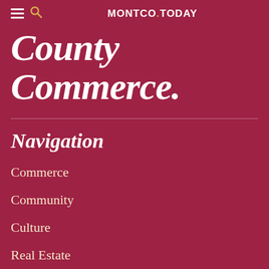MONTCO.TODAY
County Commerce.
Navigation
Commerce
Community
Culture
Real Estate
Careers
Partner / Advertise